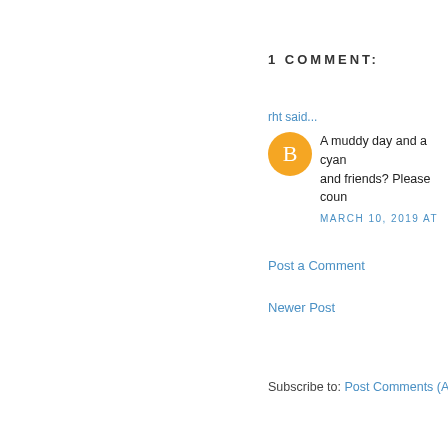1 COMMENT:
rht said...
A muddy day and a cyan... and friends? Please coun...
MARCH 10, 2019 AT
Post a Comment
Newer Post
Subscribe to: Post Comments (A